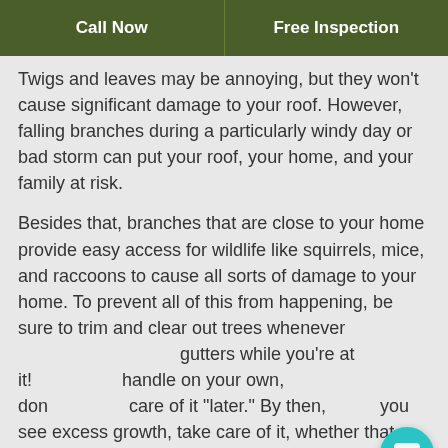Call Now | Free Inspection
Twigs and leaves may be annoying, but they won't cause significant damage to your roof. However, falling branches during a particularly windy day or bad storm can put your roof, your home, and your family at risk.
Besides that, branches that are close to your home provide easy access for wildlife like squirrels, mice, and raccoons to cause all sorts of damage to your home. To prevent all of this from happening, be sure to trim and clear out trees whenever [obscured by popup] gutters while you're at it! [obscured] handle on your own, don [obscured] care of it "later." By then, [obscured] you see excess growth, take care of it, whether that means doing it yourself or calling in a professional.
[Figure (screenshot): Chat popup with avatar of person wearing hard hat, text 'Got any questions? I'm happy to help.' and close button, plus teal chat FAB button in bottom right]